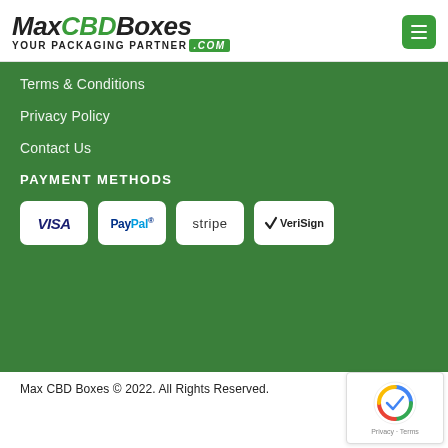[Figure (logo): MaxCBDBoxes logo with tagline YOUR PACKAGING PARTNER .COM and hamburger menu button]
Terms & Conditions
Privacy Policy
Contact Us
PAYMENT METHODS
[Figure (infographic): Payment method badges: VISA, PayPal, stripe, VeriSign]
Max CBD Boxes © 2022. All Rights Reserved.
[Figure (other): Google reCAPTCHA badge with logo and Privacy · Terms links]